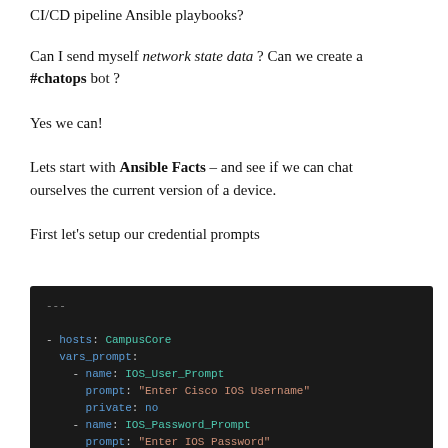CI/CD pipeline Ansible playbooks?
Can I send myself network state data? Can we create a #chatops bot?
Yes we can!
Lets start with Ansible Facts – and see if we can chat ourselves the current version of a device.
First let's setup our credential prompts
[Figure (screenshot): Dark-themed code editor screenshot showing YAML Ansible playbook with vars_prompt section defining IOS_User_Prompt and IOS_Password_Prompt credentials for CampusCore hosts.]